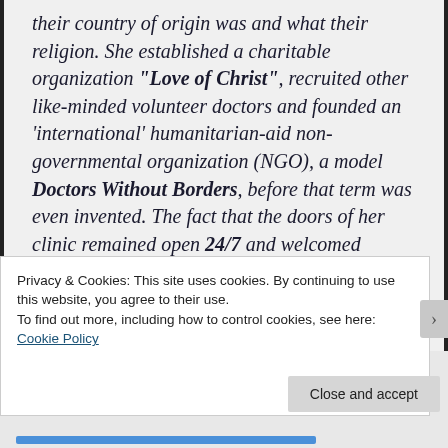their country of origin was and what their religion. She established a charitable organization "Love of Christ", recruited other like-minded volunteer doctors and founded an 'international' humanitarian-aid non-governmental organization (NGO), a model Doctors Without Borders, before that term was even invented. The fact that the doors of her clinic remained open 24/7 and welcomed everybody drew upon her the criticism, even wrath of some of Thessaloniki's local society, who could not
Privacy & Cookies: This site uses cookies. By continuing to use this website, you agree to their use.
To find out more, including how to control cookies, see here:
Cookie Policy
Close and accept